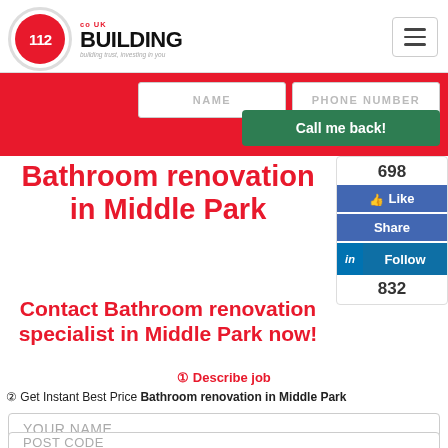[Figure (logo): 112 UK Building logo with red circle and text 'building trust, investing in you']
[Figure (screenshot): Hamburger menu icon button in top right]
NAME
PHONE NUMBER
Call me back!
[Figure (infographic): Social media sidebar showing 698 likes, Like button, Share button, LinkedIn Follow button, 832 followers]
Bathroom renovation in Middle Park
Contact Bathroom renovation specialist in Middle Park now!
① Describe job
② Get Instant Best Price Bathroom renovation in Middle Park
YOUR NAME
POST CODE